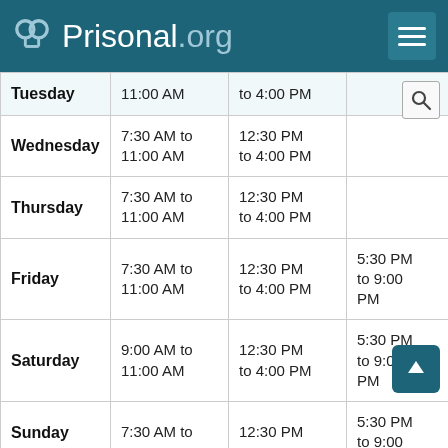Prisonal.org
| Day | Session 1 | Session 2 | Session 3 |
| --- | --- | --- | --- |
| Tuesday | 11:00 AM | to 4:00 PM |  |
| Wednesday | 7:30 AM to 11:00 AM | 12:30 PM to 4:00 PM |  |
| Thursday | 7:30 AM to 11:00 AM | 12:30 PM to 4:00 PM |  |
| Friday | 7:30 AM to 11:00 AM | 12:30 PM to 4:00 PM | 5:30 PM to 9:00 PM |
| Saturday | 9:00 AM to 11:00 AM | 12:30 PM to 4:00 PM | 5:30 PM to 9:00 PM |
| Sunday | 7:30 AM to | 12:30 PM | 5:30 PM to 9:00 |